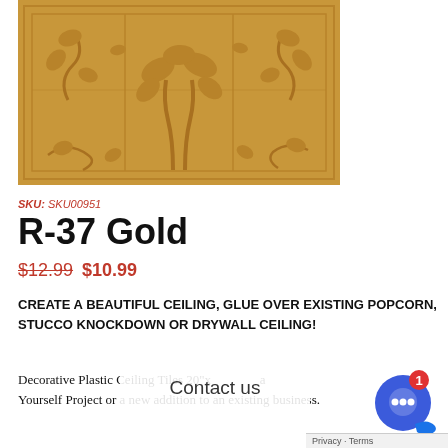[Figure (photo): Gold/tan colored decorative plastic ceiling tile with embossed art nouveau plant and leaf design, rectangular panel shown at angle]
SKU: SKU00951
R-37 Gold
$12.99 $10.99
CREATE A BEAUTIFUL CEILING, GLUE OVER EXISTING POPCORN, STUCCO KNOCKDOWN or DRYWALL CEILING!
Decorative Plastic Ceiling Tiles 20"x a Yourself Project or a new addition to an existing business.